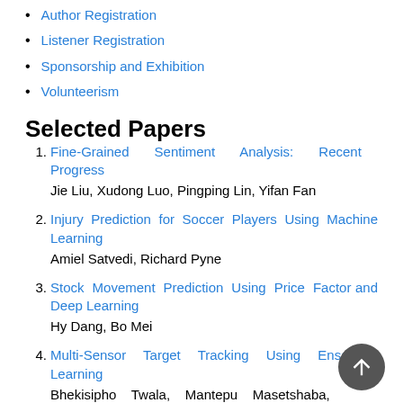Author Registration
Listener Registration
Sponsorship and Exhibition
Volunteerism
Selected Papers
Fine-Grained Sentiment Analysis: Recent Progress — Jie Liu, Xudong Luo, Pingping Lin, Yifan Fan
Injury Prediction for Soccer Players Using Machine Learning — Amiel Satvedi, Richard Pyne
Stock Movement Prediction Using Price Factor and Deep Learning — Hy Dang, Bo Mei
Multi-Sensor Target Tracking Using Ensemble Learning — Bhekisipho Twala, Mantepu Masetshaba,